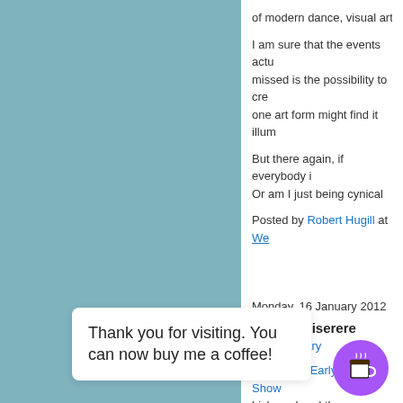of modern dance, visual arts …
I am sure that the events actu… missed is the possibility to cre… one art form might find it illum…
But there again, if everybody … Or am I just being cynical
Posted by Robert Hugill at We…
Monday, 16 January 2012
Sloppy Miserere
Labels: diary
Saturday's Early Music Show … hich explored the … hich Mozart famo… hat s… ke th… -can… ve… e tha… ere he…
Thank you for visiting. You can now buy me a coffee!